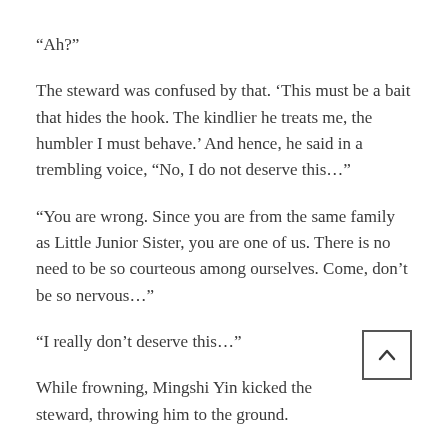“Ah?”
The steward was confused by that. ‘This must be a bait that hides the hook. The kindlier he treats me, the humbler I must behave.’ And hence, he said in a trembling voice, “No, I do not deserve this…”
“You are wrong. Since you are from the same family as Little Junior Sister, you are one of us. There is no need to be so courteous among ourselves. Come, don’t be so nervous…”
“I really don’t deserve this…”
While frowning, Mingshi Yin kicked the steward, throwing him to the ground.
Bam!